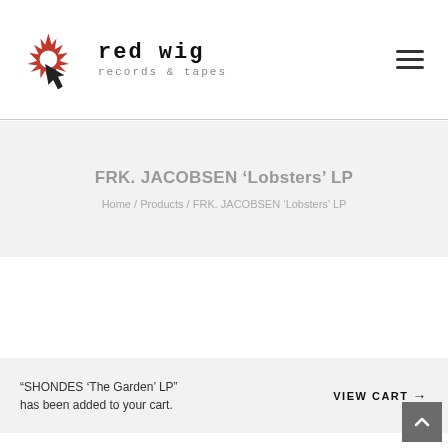[Figure (logo): Red Wig Records & Tapes logo with a red starburst/explosion graphic and black arrow cursor, beside the text 'red wig' and 'records & tapes']
FRK. JACOBSEN ‘Lobsters’ LP
Home / Products / FRK. JACOBSEN ‘Lobsters’ LP
“SHONDES ‘The Garden’ LP” has been added to your cart.
VIEW CART →